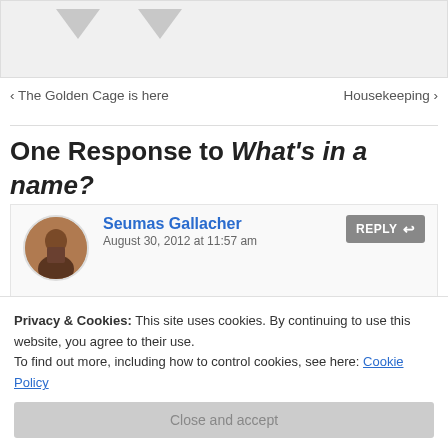[Figure (illustration): Gray box with two downward-pointing arrows/chevrons, partial view of a blog post image area]
‹ The Golden Cage is here
Housekeeping ›
One Response to What's in a name?
Seumas Gallacher   August 30, 2012 at 11:57 am
Great post, that man.. liked the trawling of the internet names from certain geographies… i've done that several times, mostly I suppose ending up with the
Privacy & Cookies: This site uses cookies. By continuing to use this website, you agree to their use. To find out more, including how to control cookies, see here: Cookie Policy
Close and accept